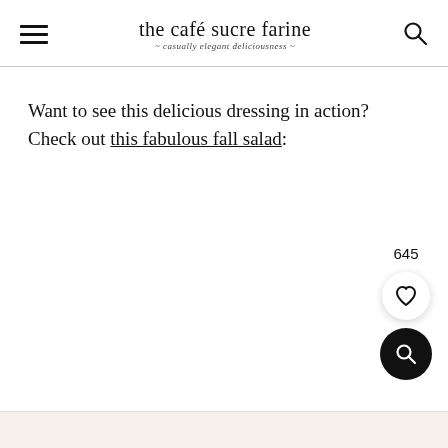the café sucre farine — casually elegant deliciousness
Want to see this delicious dressing in action? Check out this fabulous fall salad: